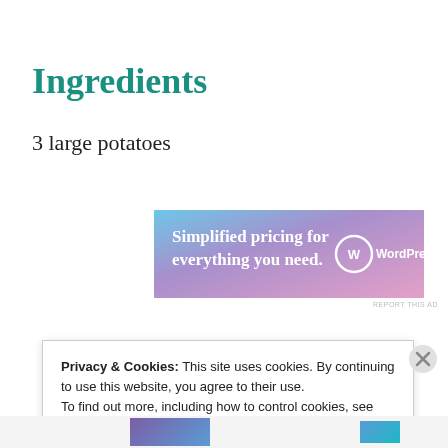Ingredients
3 large potatoes
[Figure (screenshot): WordPress.com advertisement banner: 'Simplified pricing for everything you need.' with WordPress.com logo on a gradient blue-purple background]
REPORT THIS AD
Privacy & Cookies: This site uses cookies. By continuing to use this website, you agree to their use.
To find out more, including how to control cookies, see here:
Cookie Policy

Close and accept